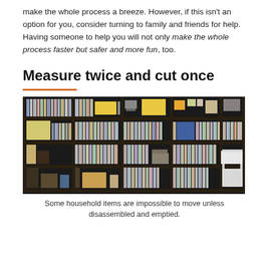make the whole process a breeze. However, if this isn't an option for you, consider turning to family and friends for help. Having someone to help you will not only make the whole process faster but safer and more fun, too.
Measure twice and cut once
[Figure (photo): A large dark bookshelf filled with books, CDs, and various items, with a white chair visible on the right side.]
Some household items are impossible to move unless disassembled and emptied.